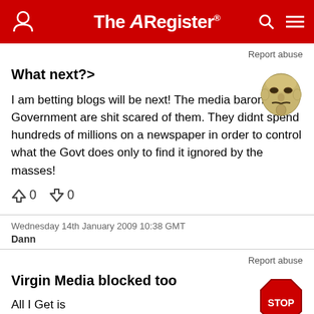The Register
Report abuse
What next?>
I am betting blogs will be next! The media barons and Government are shit scared of them. They didnt spend hundreds of millions on a newspaper in order to control what the Govt does only to find it ignored by the masses!
0  0
Wednesday 14th January 2009 10:38 GMT
Dann
Report abuse
Virgin Media blocked too
All I Get is
http://iwfwebfilter.thus.net/web/20030325211209/http://w